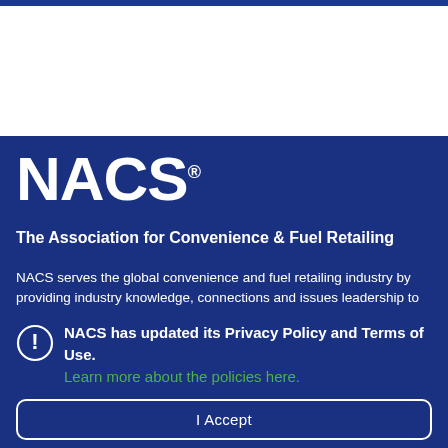[Figure (logo): NACS logo - white text on dark blue background, large bold sans-serif font]
The Association for Convenience & Fuel Retailing
NACS serves the global convenience and fuel retailing industry by providing industry knowledge, connections and issues leadership to ensure the competitive viability
NACS has updated its Privacy Policy and Terms of Use. Learn more about the policies here.
I Accept